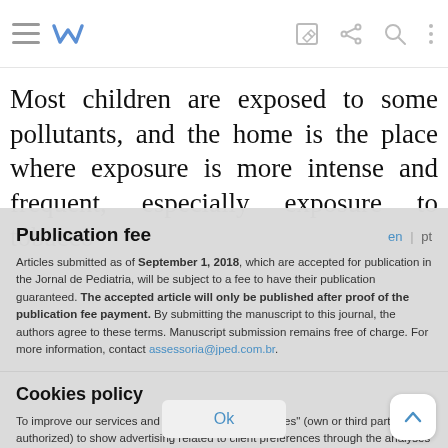Most children are exposed to some pollutants, and the home is the place where exposure is more intense and frequent, especially exposure to tobacco
Publication fee
Articles submitted as of September 1, 2018, which are accepted for publication in the Jornal de Pediatria, will be subject to a fee to have their publication guaranteed. The accepted article will only be published after proof of the publication fee payment. By submitting the manuscript to this journal, the authors agree to these terms. Manuscript submission remains free of charge. For more information, contact assessoria@jped.com.br.
Cookies policy
To improve our services and products, we use "cookies" (own or third parties authorized) to show advertising related to client preferences through the analyses of navigation customer behavior. Continuing navigation will be considered as acceptance of this use. You can change the settings or obtain more information by clicking here.